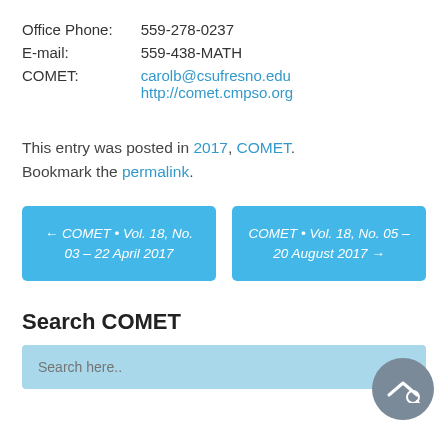Office Phone:  559-278-0237
E-mail:  559-438-MATH
COMET:  carolb@csufresno.edu
http://comet.cmpso.org
This entry was posted in 2017, COMET. Bookmark the permalink.
← COMET • Vol. 18, No. 03 – 22 April 2017
COMET • Vol. 18, No. 05 – 20 August 2017 →
Search COMET
Search here..